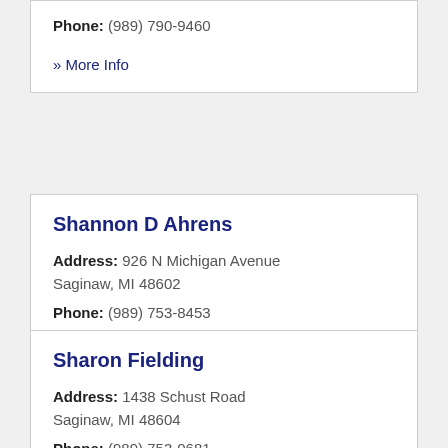Phone: (989) 790-9460
» More Info
Shannon D Ahrens
Address: 926 N Michigan Avenue Saginaw, MI 48602
Phone: (989) 753-8453
» More Info
Sharon Fielding
Address: 1438 Schust Road Saginaw, MI 48604
Phone: (989) 753-0681
» More Info